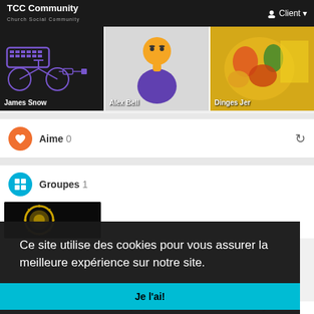TCC Community | Client
[Figure (screenshot): Three profile cards: James Snow (dark circuit board background), Alex Bell (avatar with purple shirt on grey background), Dinges Jer (colorful food on yellow background)]
Aime 0
Groupes 1
[Figure (screenshot): Group thumbnail with gold medal/seal on black background]
Ce site utilise des cookies pour vous assurer la meilleure expérience sur notre site. Apprendre encore plus
Je l'ai!
Domicile  Sur  Contactez nous  politique de confidentialité  Conditions d'utilisation  Blog